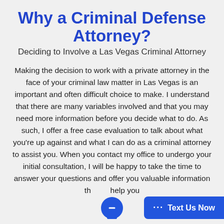Why a Criminal Defense Attorney?
Deciding to Involve a Las Vegas Criminal Attorney
Making the decision to work with a private attorney in the face of your criminal law matter in Las Vegas is an important and often difficult choice to make. I understand that there are many variables involved and that you may need more information before you decide what to do. As such, I offer a free case evaluation to talk about what you're up against and what I can do as a criminal attorney to assist you. When you contact my office to undergo your initial consultation, I will be happy to take the time to answer your questions and offer you valuable information that will help you